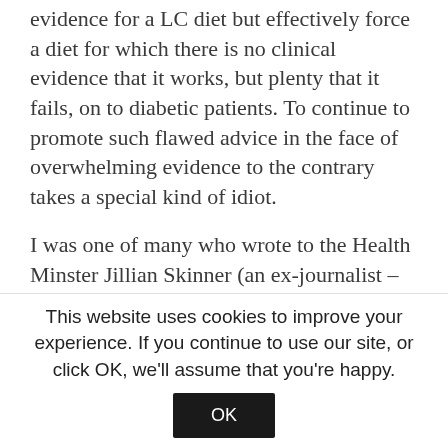evidence for a LC diet but effectively force a diet for which there is no clinical evidence that it works, but plenty that it fails, on to diabetic patients. To continue to promote such flawed advice in the face of overwhelming evidence to the contrary takes a special kind of idiot.
I was one of many who wrote to the Health Minster Jillian Skinner (an ex-journalist – well qualified for the job) in support of Jennifer providing a link to the Credit Suisse report (https://doc.research-and-analytics.csfb.com/docView?language=ENG&source=ulg&format=PDF&docum
This website uses cookies to improve your experience. If you continue to use our site, or click OK, we'll assume that you're happy.